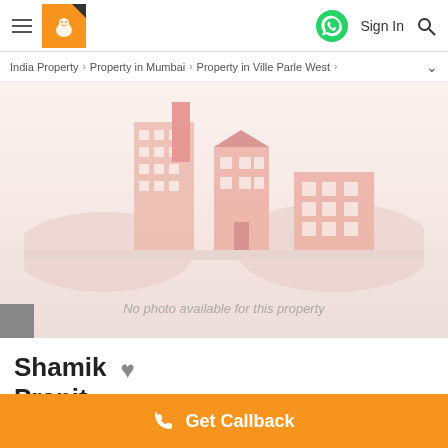99acres header with logo, WhatsApp, Sign In, Search
India Property > Property in Mumbai > Property in Ville Parle West >
[Figure (illustration): Placeholder building illustration with text 'No photo available for this property']
Shamik Pranit
Get Callback